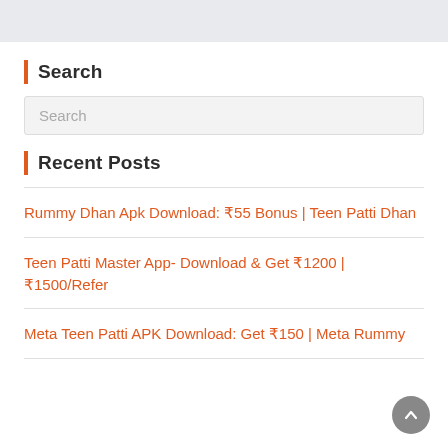[Figure (other): Gray banner/advertisement area at top of page]
Search
Search
Recent Posts
Rummy Dhan Apk Download: ₹55 Bonus | Teen Patti Dhan
Teen Patti Master App- Download & Get ₹1200 | ₹1500/Refer
Meta Teen Patti APK Download: Get ₹150 | Meta Rummy